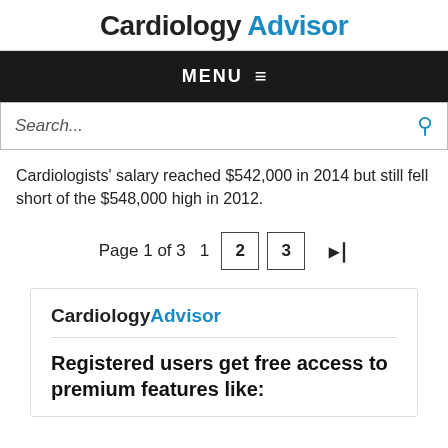Cardiology Advisor
MENU
Search...
Cardiologists' salary reached $542,000 in 2014 but still fell short of the $548,000 high in 2012.
Page 1 of 3  1  2  3  >|
[Figure (logo): Cardiology Advisor logo with blue 'Advisor' text]
Registered users get free access to premium features like: